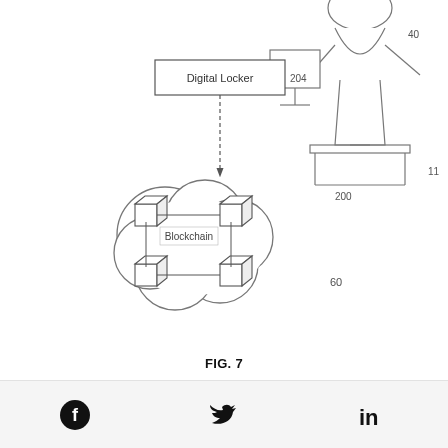[Figure (schematic): Nike patent application drawing showing FIG. 7: a partial diagram with a 'Digital Locker' box (labeled 204) connected by a dashed arrow to a blockchain cloud diagram (labeled 60) showing four blockchain nodes interconnected, and a figure of a person sitting at a device (labeled 200, 11, 40).]
FIG. 7
NIKE'S PATENT APPLICATION DRAWING
By creating a physical-digital collaboration, physical assets are now tied to digital. Perhaps the future of NFTs will lie in a real-world and digital
[Facebook icon] [Twitter icon] [LinkedIn icon]